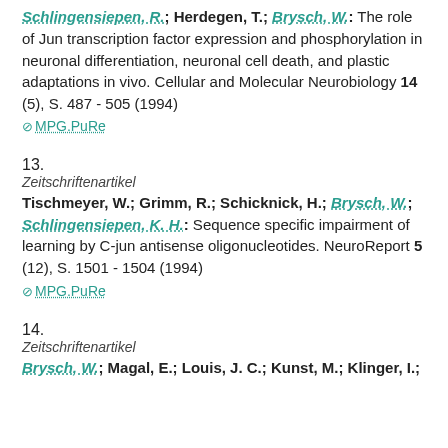Schlingensiepen, R.; Herdegen, T.; Brysch, W.: The role of Jun transcription factor expression and phosphorylation in neuronal differentiation, neuronal cell death, and plastic adaptations in vivo. Cellular and Molecular Neurobiology 14 (5), S. 487 - 505 (1994)
⊘ MPG.PuRe
13.
Zeitschriftenartikel
Tischmeyer, W.; Grimm, R.; Schicknick, H.; Brysch, W.; Schlingensiepen, K. H.: Sequence specific impairment of learning by C-jun antisense oligonucleotides. NeuroReport 5 (12), S. 1501 - 1504 (1994)
⊘ MPG.PuRe
14.
Zeitschriftenartikel
Brysch, W.; Magal, E.; Louis, J. C.; Kunst, M.; Klinger, I.;